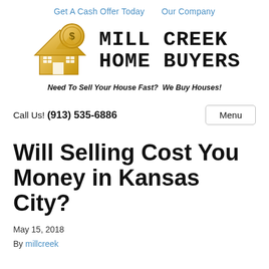Get A Cash Offer Today   Our Company
[Figure (logo): Mill Creek Home Buyers logo with gold house and dollar coin icon, text reads MILL CREEK HOME BUYERS, tagline: Need To Sell Your House Fast? We Buy Houses!]
Call Us! (913) 535-6886
Will Selling Cost You Money in Kansas City?
May 15, 2018
By millcreek